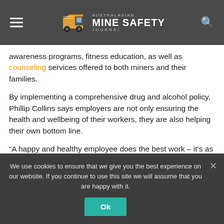Australasian Mine Safety Journal
awareness programs, fitness education, as well as counseling services offered to both miners and their families.
By implementing a comprehensive drug and alcohol policy, Phillip Collins says employers are not only ensuring the health and wellbeing of their workers, they are also helping their own bottom line.
“A happy and healthy employee does the best work – it’s as simple as that.”
We use cookies to ensure that we give you the best experience on our website. If you continue to use this site we will assume that you are happy with it.